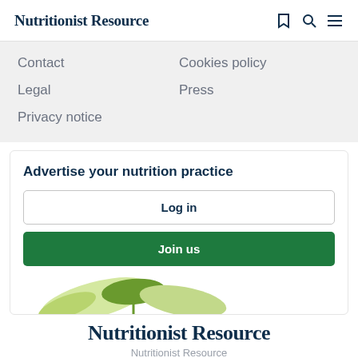Nutritionist Resource
Contact
Cookies policy
Legal
Press
Privacy notice
Advertise your nutrition practice
Log in
Join us
[Figure (illustration): Decorative plant illustration with green leaves at the bottom of the card]
Nutritionist Resource
Nutritionist Resource